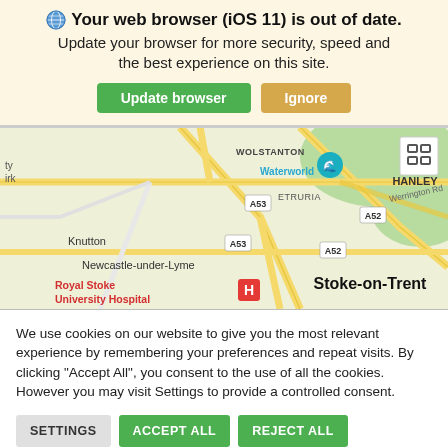🌐 Your web browser (iOS 11) is out of date. Update your browser for more security, speed and the best experience on this site.
[Figure (map): Google Maps screenshot showing Stoke-on-Trent area including Wolstanton, Waterworld, Hanley, Etruria, Knutton, Newcastle-under-Lyme, Royal Stoke University Hospital, UBBERLEY, Parkhall Cou(ntry Park), Forest Park, roads A52 and A53]
We use cookies on our website to give you the most relevant experience by remembering your preferences and repeat visits. By clicking "Accept All", you consent to the use of all the cookies. However you may visit Settings to provide a controlled consent.